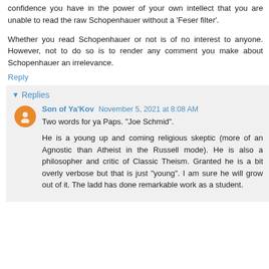confidence you have in the power of your own intellect that you are unable to read the raw Schopenhauer without a 'Feser filter'.
Whether you read Schopenhauer or not is of no interest to anyone. However, not to do so is to render any comment you make about Schopenhauer an irrelevance.
Reply
Replies
Son of Ya'Kov November 5, 2021 at 8:08 AM
Two words for ya Paps. "Joe Schmid".
He is a young up and coming religious skeptic (more of an Agnostic than Atheist in the Russell mode). He is also a philosopher and critic of Classic Theism. Granted he is a bit overly verbose but that is just "young". I am sure he will grow out of it. The ladd has done remarkable work as a student.